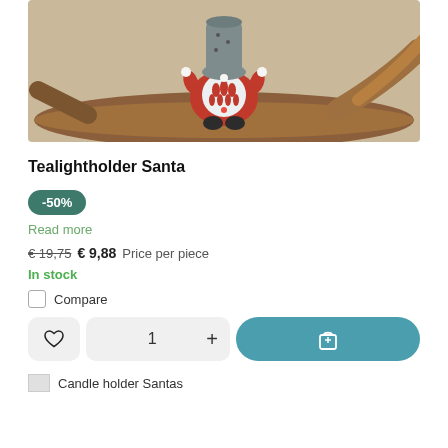[Figure (photo): Photo of a ceramic tealight holder shaped like a Santa/gnome figure with a grey hat, red coat with white beard design, black boots, sitting on a wooden log/branch. The background is beige/cream.]
Tealightholder Santa
-50%
Read more
€ 19,75  € 9,88 Price per piece
In stock
Compare
[Figure (other): Action buttons row: heart/wishlist button, quantity selector showing 1 with plus button, and teal add-to-cart button with shopping bag icon]
[Figure (other): Thumbnail image placeholder with broken image icon followed by text 'Candle holder Santas']